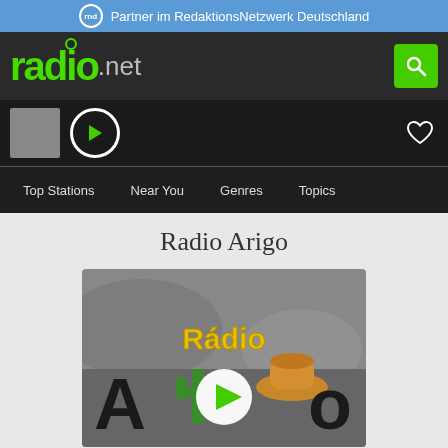Partner im RedaktionsNetzwerk Deutschland
[Figure (logo): radio.net logo with green text and search button]
[Figure (screenshot): Player bar with gray station thumbnail, play button, and heart icon]
Top Stations  Near You  Genres  Topics
Radio Arigo
[Figure (photo): Radio Arigo station logo image - grayscale background with 'Rádio' in yellow text, cactus and hat graphics, with play button overlay]